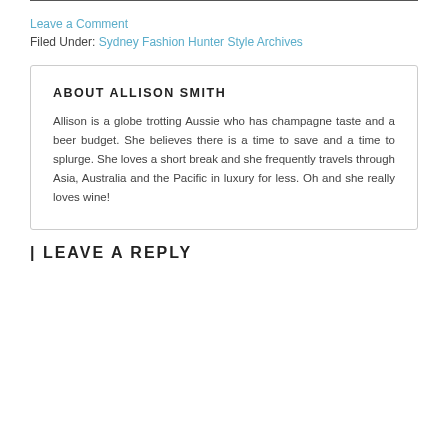Leave a Comment
Filed Under: Sydney Fashion Hunter Style Archives
ABOUT ALLISON SMITH
Allison is a globe trotting Aussie who has champagne taste and a beer budget. She believes there is a time to save and a time to splurge. She loves a short break and she frequently travels through Asia, Australia and the Pacific in luxury for less. Oh and she really loves wine!
LEAVE A REPLY